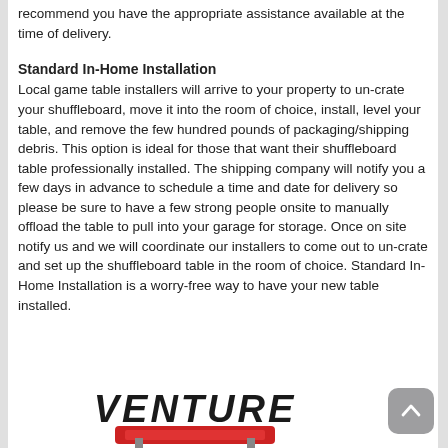recommend you have the appropriate assistance available at the time of delivery.
Standard In-Home Installation
Local game table installers will arrive to your property to un-crate your shuffleboard, move it into the room of choice, install, level your table, and remove the few hundred pounds of packaging/shipping debris. This option is ideal for those that want their shuffleboard table professionally installed. The shipping company will notify you a few days in advance to schedule a time and date for delivery so please be sure to have a few strong people onsite to manually offload the table to pull into your garage for storage. Once on site notify us and we will coordinate our installers to come out to un-crate and set up the shuffleboard table in the room of choice. Standard In-Home Installation is a worry-free way to have your new table installed.
[Figure (logo): Venture brand logo with red shuffleboard table graphic]